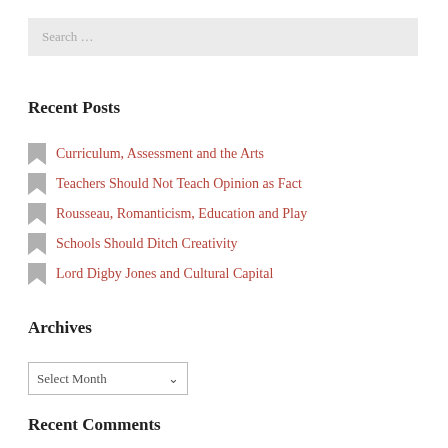Search ...
Recent Posts
Curriculum, Assessment and the Arts
Teachers Should Not Teach Opinion as Fact
Rousseau, Romanticism, Education and Play
Schools Should Ditch Creativity
Lord Digby Jones and Cultural Capital
Archives
Select Month
Recent Comments